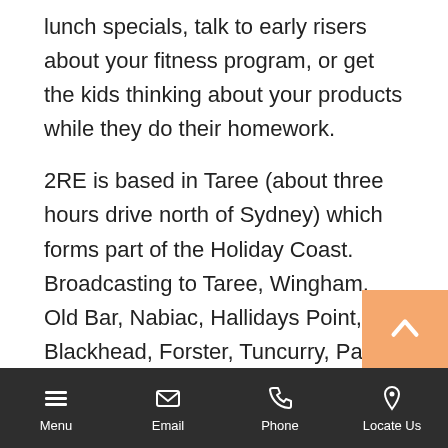lunch specials, talk to early risers about your fitness program, or get the kids thinking about your products while they do their homework.
2RE is based in Taree (about three hours drive north of Sydney) which forms part of the Holiday Coast. Broadcasting to Taree, Wingham, Old Bar, Nabiac, Hallidays Point, Blackhead, Forster, Tuncurry, Pacific Palms, Smiths Lake, Coopernook, Harrington, Crowdy Head, Kendall, Laurieton, Kew, Port Macquarie, Gloucester, Barrington Tops, Krambach and Wootton, reaching a potential audience of 80,900 – increasing to over 1
Menu | Email | Phone | Locate Us